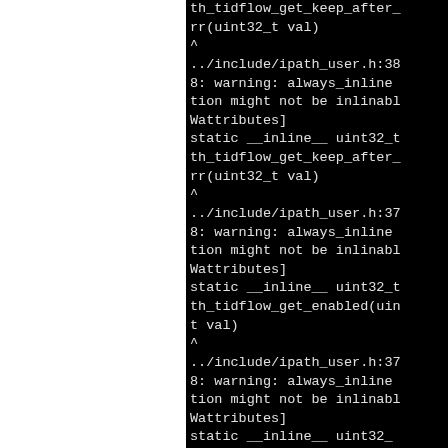[Figure (screenshot): Terminal/compiler output showing a series of compiler warnings about always_inline attribute on functions that might not be inlinable, with references to ../include/ipath_user.h at various line numbers. The left half of the page is white (cut off) and the right half shows black terminal with white monospace text.]